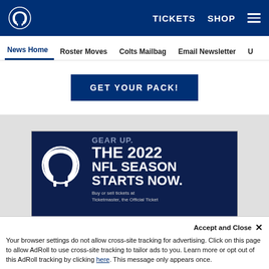Indianapolis Colts website header with TICKETS, SHOP navigation and hamburger menu
News Home | Roster Moves | Colts Mailbag | Email Newsletter | U...
[Figure (screenshot): GET YOUR PACK! button on white banner]
[Figure (screenshot): Colts ad: GEAR UP. THE 2022 NFL SEASON STARTS NOW. Buy or sell tickets at Ticketmaster, the Official Ticket Marketplace of the Colts]
Accept and Close ✕
Your browser settings do not allow cross-site tracking for advertising. Click on this page to allow AdRoll to use cross-site tracking to tailor ads to you. Learn more or opt out of this AdRoll tracking by clicking here. This message only appears once.